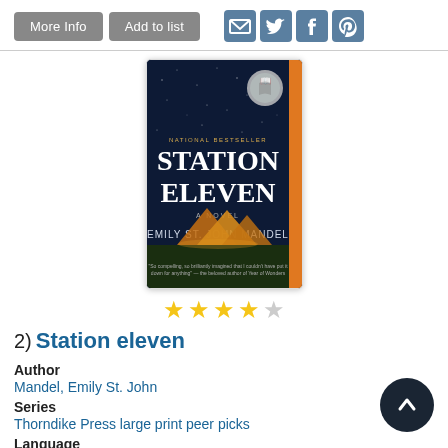[Figure (screenshot): Toolbar with 'More Info' and 'Add to list' grey buttons, and social share icons for email, Twitter, Facebook, Pinterest]
[Figure (photo): Book cover of 'Station Eleven' by Emily St. John Mandel — dark blue starry sky background, glowing golden tents, orange spine, 'NATIONAL BESTSELLER' text, silver medallion badge]
[Figure (other): 4.5 out of 5 stars rating shown as five star icons, four filled yellow and one empty]
2)  Station eleven
Author
Mandel, Emily St. John
Series
Thorndike Press large print peer picks
Language
English